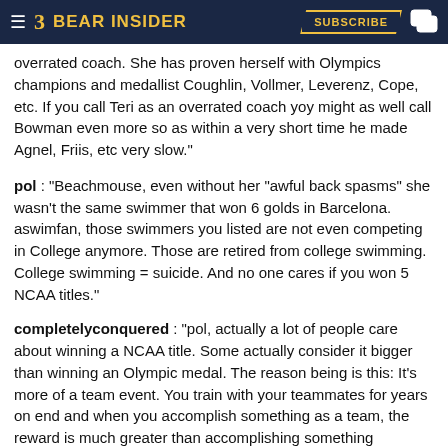Bear Insider — Subscribe
overrated coach. She has proven herself with Olympics champions and medallist Coughlin, Vollmer, Leverenz, Cope, etc. If you call Teri as an overrated coach yoy might as well call Bowman even more so as within a very short time he made Agnel, Friis, etc very slow."
pol : "Beachmouse, even without her "awful back spasms" she wasn't the same swimmer that won 6 golds in Barcelona. aswimfan, those swimmers you listed are not even competing in College anymore. Those are retired from college swimming. College swimming = suicide. And no one cares if you won 5 NCAA titles."
completelyconquered : "pol, actually a lot of people care about winning a NCAA title. Some actually consider it bigger than winning an Olympic medal. The reason being is this: It's more of a team event. You train with your teammates for years on end and when you accomplish something as a team, the reward is much greater than accomplishing something individually."
pol : "completelyconquered, yeah right. Liz Pelton who is good in college couldn't even medal in International competition. NCAA title will never put you in the greatest list if you can't even medal in the biggest events in International competition. Good for your team concept, but no one cares."